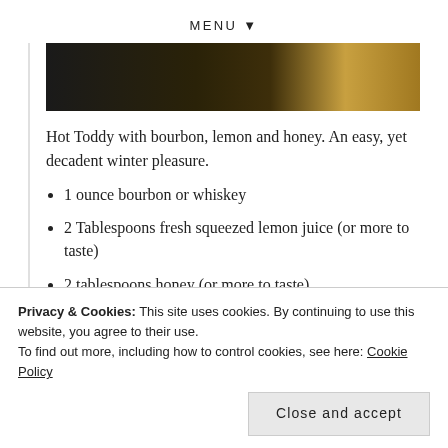MENU ▼
[Figure (photo): Dark moody photo of a hot toddy drink with bokeh background lighting]
Hot Toddy with bourbon, lemon and honey. An easy, yet decadent winter pleasure.
1 ounce bourbon or whiskey
2 Tablespoons fresh squeezed lemon juice (or more to taste)
2 tablespoons honey (or more to taste)
8 ounces filtered water (for tea)
Privacy & Cookies: This site uses cookies. By continuing to use this website, you agree to their use.
To find out more, including how to control cookies, see here: Cookie Policy
Close and accept